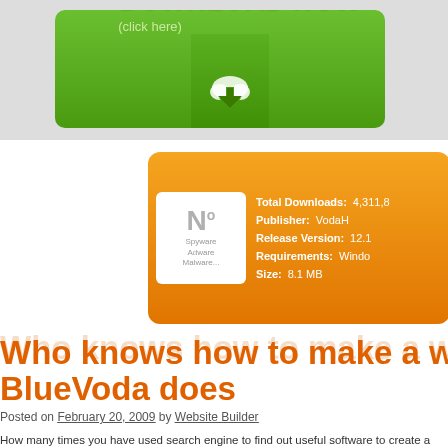[Figure (screenshot): Green 'DOWNLOAD NOW (click here)' button with cloud download icon on grey background]
[Figure (infographic): Orange info box with No Spyware/Adware/Malware badge and software stats: Total Downloads 4,311,8xx, Publisher VodaH, Release Version 12.1, Requirements Windo, Size 8.1 MB]
Who knows how to make a website? BlueVoda does
Posted on February 20, 2009 by Website Builder
How many times you have used search engine to find out useful software to create a web site mind that how to make a website which looks more professional? To create a website in a pro